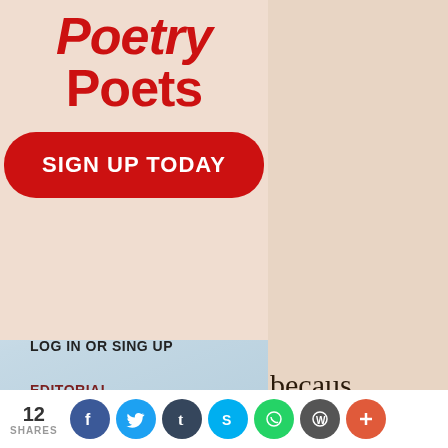[Figure (illustration): Poetry Poets banner with red bold text 'Poetry Poets' on light peach background with a red rounded-rectangle button saying 'SIGN UP TODAY' in white bold text]
LOG IN OR SING UP
EDITORIAL
POET OF THE MONTH
becaus Od Ode
12 SHARES — social share icons: Facebook, Twitter, Tumblr, Skype, WhatsApp, WordPress, More